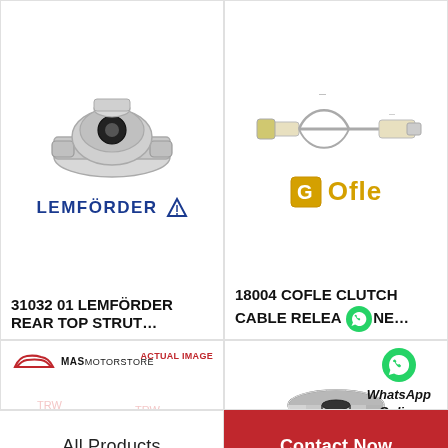[Figure (photo): Lemförder rear top strut mount bushing (silver/black) with brand logo below]
31032 01 LEMFÖRDER REAR TOP STRUT…
[Figure (photo): Cofle clutch cable with technical diagram and Cofle brand logo]
18004 COFLE CLUTCH CABLE RELEASE NE…
[Figure (photo): MAS Motorstore logo with TRW clutch cable sensor actual image]
[Figure (photo): Suspension arm bush/bushing (cylindrical rubber-metal part) with WhatsApp Online overlay]
All Products
Contact Now